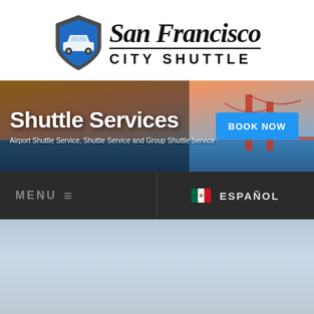[Figure (logo): San Francisco City Shuttle logo with shield icon containing a car and the text 'San Francisco' in italic script above 'CITY SHUTTLE' in bold caps]
[Figure (infographic): Banner with Golden Gate Bridge background showing 'Shuttle Services' heading, subtitle 'Airport Shuttle Service, Shuttle Service and Group Shuttle Service', and a blue 'BOOK NOW' button]
[Figure (screenshot): Dark navigation bar with 'MENU' and hamburger icon on the left, and Mexican flag with 'ESPAÑOL' text on the right]
[Figure (photo): Faded blue-grey sky background area at the bottom of the page]